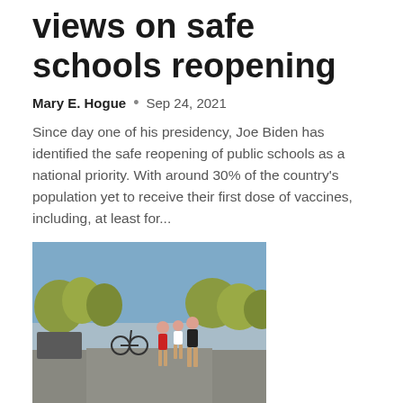views on safe schools reopening
Mary E. Hogue  •  Sep 24, 2021
Since day one of his presidency, Joe Biden has identified the safe reopening of public schools as a national priority. With around 30% of the country's population yet to receive their first dose of vaccines, including, at least for...
[Figure (photo): Students walking outdoors on a campus path wearing masks, with trees and other students visible in the background]
Stanford Welcomes Largest Incoming Class Ever As